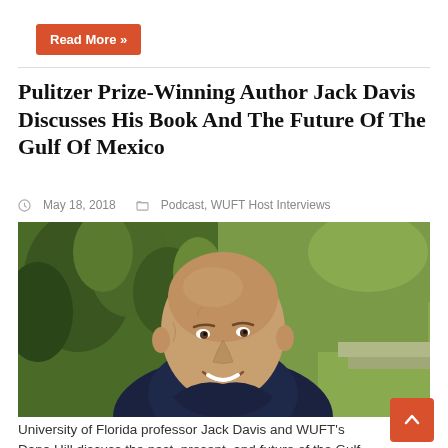Read More »
Pulitzer Prize-Winning Author Jack Davis Discusses His Book And The Future Of The Gulf Of Mexico
May 18, 2018   Podcast, WUFT Host Interviews
[Figure (photo): Outdoor portrait photograph of a smiling bald man wearing a dark navy blue shirt, with green tropical plants and grass in the background.]
University of Florida professor Jack Davis and WUFT's Dana Hill discuss the past, present, and future of the Gulf of Mexico.